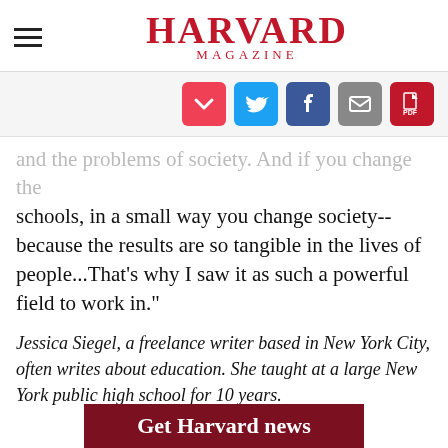HARVARD MAGAZINE
[Figure (infographic): Social sharing icons: Pocket (red), Twitter (blue), Facebook (dark blue), Email (grey), PDF (red)]
and the problems of society. And if you change the schools, in a small way you change society--because the results are so tangible in the lives of people...That's why I saw it as such a powerful field to work in."
Jessica Siegel, a freelance writer based in New York City, often writes about education. She taught at a large New York public high school for 10 years.
[Figure (infographic): Dark red banner at bottom with white bold text reading 'Get Harvard news']